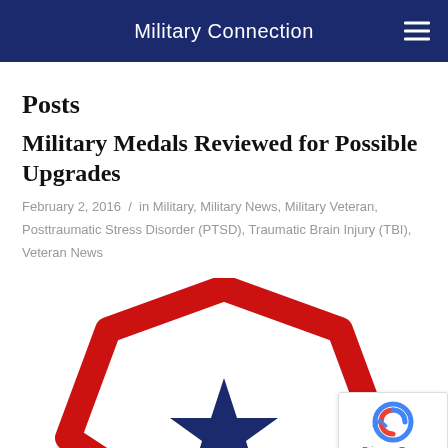Military Connection
Posts
Military Medals Reviewed for Possible Upgrades
February 2, 2016 / in Military, Military News, Military Veteran, Posttraumatic Stress Disorder (PTSD), Traumatic Brain Injury (TBI), Veteran News
[Figure (illustration): Partial view of a military medal with red octagonal border and blue star or insignia in center, cropped at bottom of page]